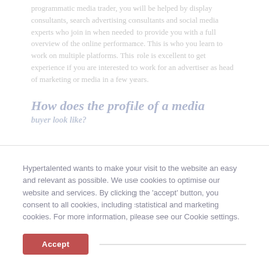programmatic media trader, you will be helped by display consultants, search advertising consultants and social media experts who join in when needed to provide you with a full overview of the online performance. This is who you learn to work on multiple platforms. This role is excellent to get experience if you are interested to work for an advertiser as head of marketing or media in a few years.
How does the profile of a media
Hypertalented wants to make your visit to the website an easy and relevant as possible. We use cookies to optimise our website and services. By clicking the 'accept' button, you consent to all cookies, including statistical and marketing cookies. For more information, please see our Cookie settings.
Accept